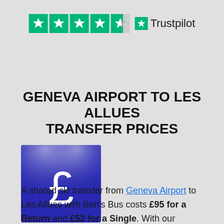[Figure (logo): Trustpilot rating showing 4.5 green stars and the Trustpilot logo]
GENEVA AIRPORT TO LES ALLUES TRANSFER PRICES
[Figure (illustration): Dark blue square with a white pound sterling (£) symbol lit by spotlights from above]
A shared ski transfer from Geneva Airport to Les Allues with Ben's Bus costs £95 for a Return and £52 for a Single. With our discounts for